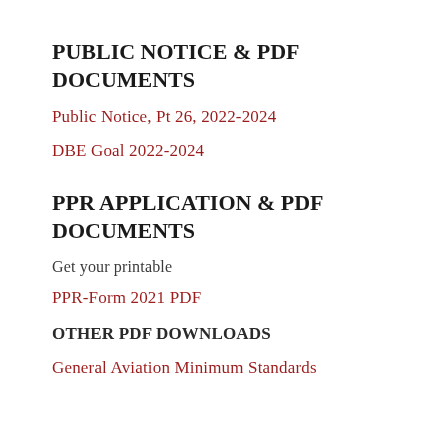PUBLIC NOTICE & PDF DOCUMENTS
Public Notice, Pt 26, 2022-2024
DBE Goal 2022-2024
PPR APPLICATION & PDF DOCUMENTS
Get your printable
PPR-Form 2021 PDF
OTHER PDF DOWNLOADS
General Aviation Minimum Standards